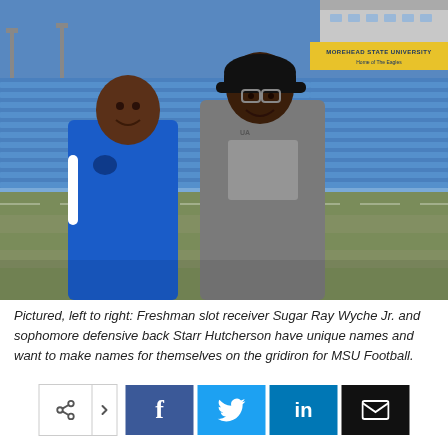[Figure (photo): Two young men standing on a football field at Morehead State University stadium. The man on the left wears a blue Under Armour jacket, the man on the right wears a gray Under Armour jacket and a black cap. Stadium bleachers and a yellow sign reading 'MOREHEAD STATE UNIVERSITY' are visible in the background.]
Pictured, left to right: Freshman slot receiver Sugar Ray Wyche Jr. and sophomore defensive back Starr Hutcherson have unique names and want to make names for themselves on the gridiron for MSU Football.
[Figure (infographic): Social sharing button bar with share icon, Facebook, Twitter, LinkedIn, and email buttons.]